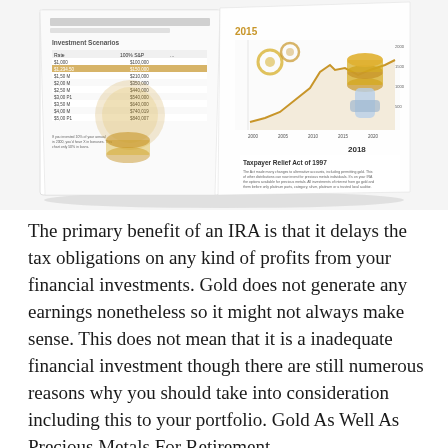[Figure (illustration): An open book/brochure displaying gold investment content. The left page shows an 'Investment Scenarios' table with financial data and gold coins imagery. The right page shows a gold price line chart with years 2000-2030 marked, a hand holding a gold coin/stack, golden gears, and text about the 'Taxpayer Relief Act of 1997'.]
The primary benefit of an IRA is that it delays the tax obligations on any kind of profits from your financial investments. Gold does not generate any earnings nonetheless so it might not always make sense. This does not mean that it is a inadequate financial investment though there are still numerous reasons why you should take into consideration  including this to your portfolio. Gold As Well As Precious Metals For Retirement